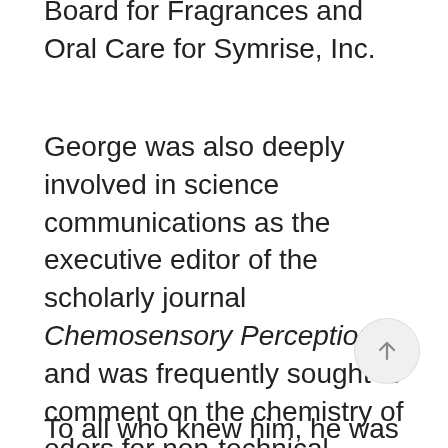Board for Fragrances and Oral Care for Symrise, Inc.
George was also deeply involved in science communications as the executive editor of the scholarly journal Chemosensory Perception and was frequently sought to comment on the chemistry of odors for non-technical audiences. In 2002, the American Chemical Society recognized him for promoting chemistry to the general public through the media.
To all who knew him, he was